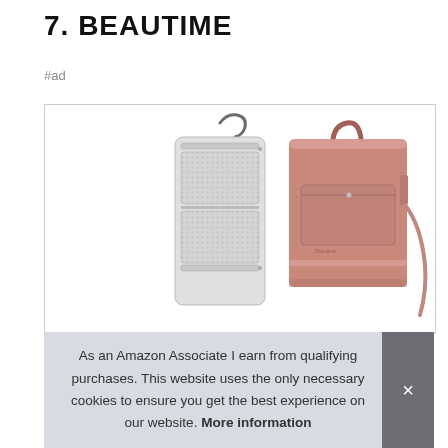7. BEAUTIME
#ad
[Figure (photo): Two Beautime hanging toiletry bags: one open/flat showing grey mesh interior compartments with a metal hook hanger, and one closed pink/rose textured bag shown upright with a handle and shoulder strap.]
As an Amazon Associate I earn from qualifying purchases. This website uses the only necessary cookies to ensure you get the best experience on our website. More information